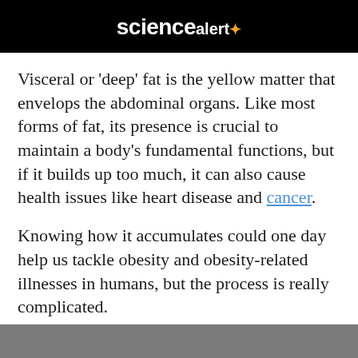[Figure (logo): ScienceAlert logo — white text on black background reading 'science alert' with a small orange star/asterisk symbol]
Visceral or 'deep' fat is the yellow matter that envelops the abdominal organs. Like most forms of fat, its presence is crucial to maintain a body's fundamental functions, but if it builds up too much, it can also cause health issues like heart disease and cancer.
Knowing how it accumulates could one day help us tackle obesity and obesity-related illnesses in humans, but the process is really complicated.
In recent years, scientists have begun to suspect the nervous system and the immune system are